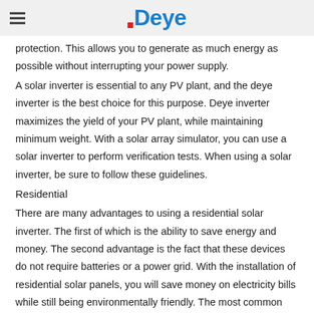Deye
protection. This allows you to generate as much energy as possible without interrupting your power supply.
A solar inverter is essential to any PV plant, and the deye inverter is the best choice for this purpose. Deye inverter maximizes the yield of your PV plant, while maintaining minimum weight. With a solar array simulator, you can use a solar inverter to perform verification tests. When using a solar inverter, be sure to follow these guidelines.
Residential
There are many advantages to using a residential solar inverter. The first of which is the ability to save energy and money. The second advantage is the fact that these devices do not require batteries or a power grid. With the installation of residential solar panels, you will save money on electricity bills while still being environmentally friendly. The most common residential solar inverters are marketed at home consumers. They come with a warranty of 25 years and